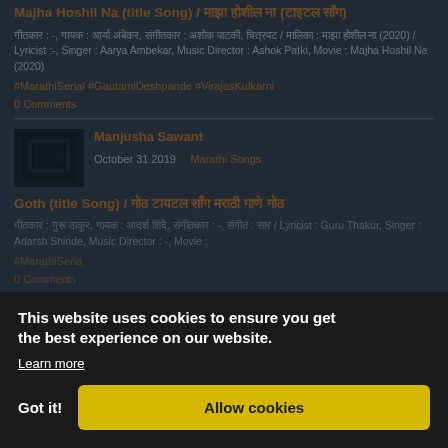Majha Hoshil Na (title Song) / माझा होशील ना (टाइटल सॉंग)
गीतकार : -, गायक : आर्या अंबेकर, संगीतकार : अशोक पाटकी, चित्रपट / मालिका : माझा होशील ना (2020) / Lyricist :-, Singer : Aarya Ambekar, Music Director : Ashok Patki, Movie : Majha Hoshil Na (2020)
#MarathiSerial #GautamiDeshpande #VirajasKulkarni
0 Comments
Manjusha Sawant
October 31 2019   Marathi Songs
Goth (title Song) / गोठ टायटल सॉंग मराठी गाणे गोठ
गीतकार : गुरू ठाकूर, गायक : आदर्श शिंदे, संगीतकार : -, संगीत : सार / Lyricist : Guru Thakur, Singer : Adarsh Shinde, Music Director : -, Movie :
#MarathiSeria
0 Comments
Manjusha Sawant
November 20 2018   Marathi Songs
This website uses cookies to ensure you get the best experience on our website.
Learn more
Got it!
Allow cookies